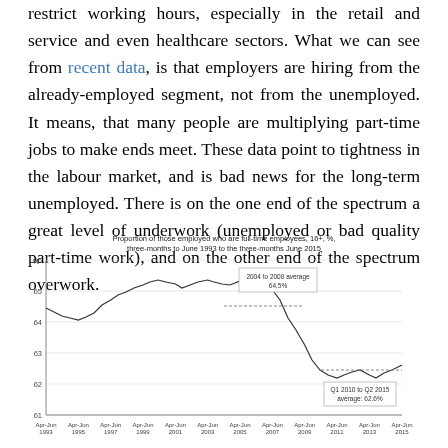restrict working hours, especially in the retail and service and even healthcare sectors. What we can see from recent data, is that employers are hiring from the already-employed segment, not from the unemployed. It means, that many people are multiplying part-time jobs to make ends meet. These data point to tightness in the labour market, and is bad news for the long-term unemployed. There is on the one end of the spectrum a great level of underwork (unemployed or bad quality part-time work), and on the other end of the spectrum overwork.
[Figure (continuous-plot): Line chart showing proportion of employed who are full-time employees (16+, %) from Apr-Jun 1993 to Apr-Jun 2015. The line fluctuates around 65% in the late 1990s and early 2000s, then declines sharply after 2008. Two reference lines are shown: 2004 to 2008 average at 64.5% and Q1 2010 to Q2 2015 average at 62.6%.]